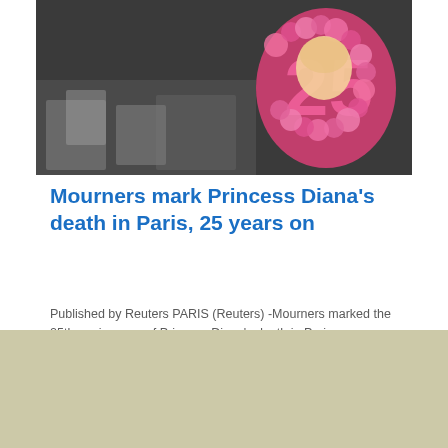[Figure (photo): Memorial flowers and a pink floral '25' decoration with Princess Diana's photo, marking the 25th anniversary of her death in Paris]
Mourners mark Princess Diana’s death in Paris, 25 years on
Published by Reuters PARIS (Reuters) -Mourners marked the 25th anniversary of Princess Diana’s death in Paris on Wednesday, laying flowers and leaving messages on the bridge above the underpass where she was killed in a car …
Read More »
[Figure (photo): Woman at MTV VMAs event with pink and blue MTV logo backdrop in background]